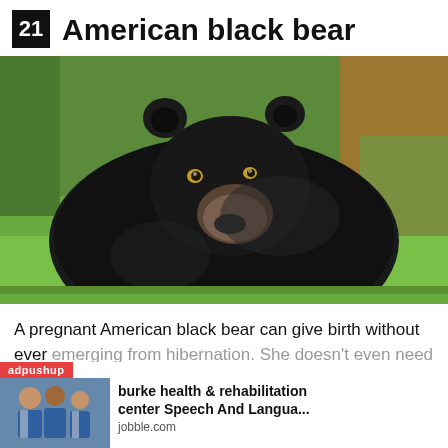21 American black bear
[Figure (photo): A large American black bear sitting on green grass, facing the camera with a tan muzzle, photographed outdoors.]
A pregnant American black bear can give birth without ever emerging from hibernation. She doesn't even need to rouse herself ... r cubs for mo... Source
[Figure (infographic): Ad overlay from adpushup showing a sponsored ad for 'burke health & rehabilitation center Speech And Langua...' from jobble.com with an image of medical staff.]